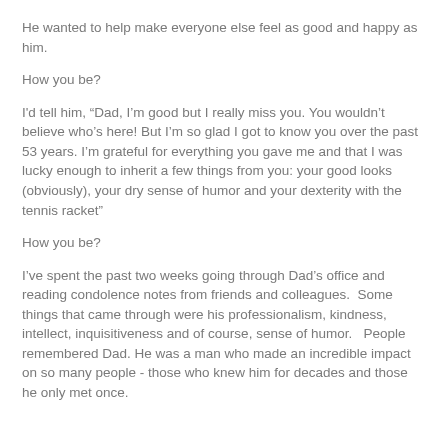He wanted to help make everyone else feel as good and happy as him.
How you be?
I'd tell him, “Dad, I’m good but I really miss you.  You wouldn’t believe who’s here! But I’m so glad I got to know you over the past 53 years.  I’m grateful for everything you gave me and that I was lucky enough to inherit a few things from you: your good looks (obviously), your dry sense of humor and your dexterity with the tennis racket”
How you be?
I’ve spent the past two weeks going through Dad’s office and reading condolence notes from friends and colleagues.  Some things that came through were his professionalism, kindness, intellect, inquisitiveness and of course, sense of humor.   People remembered Dad. He was a man who made an incredible impact on so many people - those who knew him for decades and those he only met once.